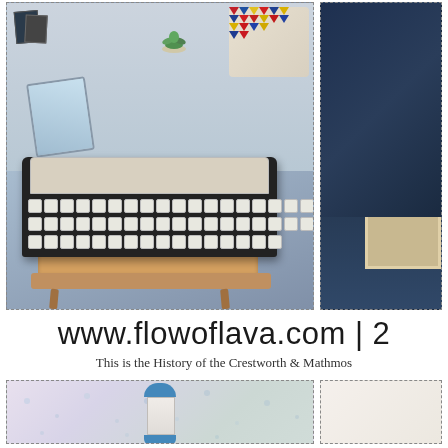[Figure (photo): Two photos side by side in dashed borders: left photo shows a vintage typewriter on a wooden side table with decorative items (tablet, succulent, books, colorful geometric pillow) on a shelf above; right photo shows a dark navy blue background with partial view of a framed item.]
www.flowoflava.com | 2
This is the History of the Crestworth & Mathmos
[Figure (photo): Two photos side by side in dashed borders at bottom: left photo shows a blue lava lamp lying on a floral/patterned fabric with small mushroom/jellyfish prints; right photo shows a partial view of a light-colored background.]